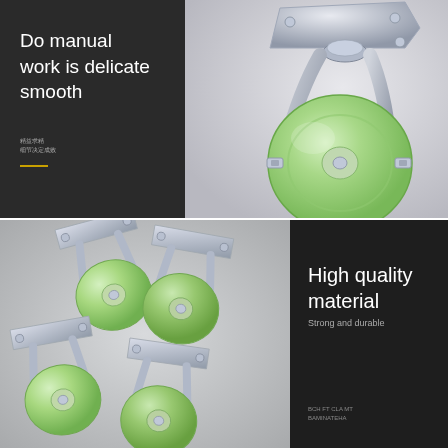[Figure (photo): Close-up photo of a single green/translucent PU swivel caster wheel with chrome steel bracket and mounting plate, on light gray background]
Do manual work is delicate smooth
精益求精
细节决定成败
[Figure (photo): Photo of four green/translucent PU swivel caster wheels with chrome steel brackets and square mounting plates, arranged together on light gray background]
High quality material
Strong and durable
BCH FT CLA MT
BAMINATEHA